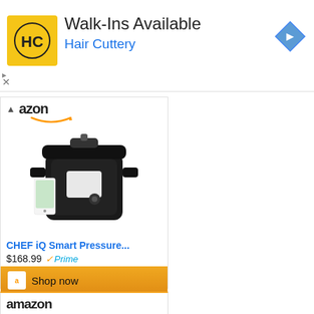[Figure (screenshot): Hair Cuttery advertisement banner with yellow HC logo, text 'Walk-Ins Available' and 'Hair Cuttery', and a blue navigation arrow badge]
[Figure (screenshot): Amazon advertisement card showing CHEF iQ Smart Pressure Cooker product image, price $168.99 with Prime badge, and Shop now button]
[Figure (screenshot): Second Amazon advertisement card showing the same CHEF iQ Smart Pressure Cooker product image (partially visible)]